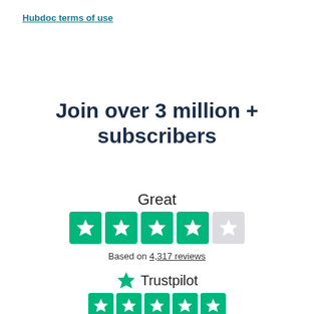Hubdoc terms of use
Join over 3 million + subscribers
Great
[Figure (other): Trustpilot rating: 4 green filled stars and 1 gray partial star (4.5/5 rating)]
Based on 4,317 reviews
[Figure (logo): Trustpilot logo with green star icon and Trustpilot wordmark]
[Figure (other): Row of 5 green Trustpilot star boxes at bottom]